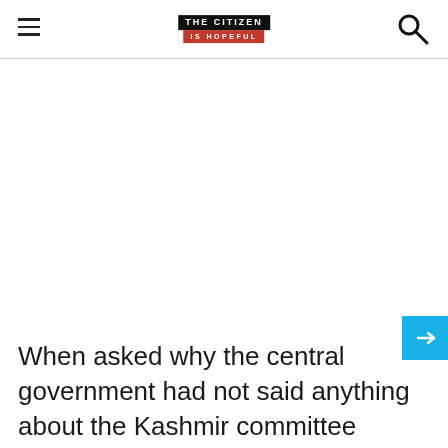THE CITIZEN IS HOPEFUL
[Figure (logo): The Citizen Is Hopeful logo — black box with white text 'THE CITIZEN' and red box below with white text 'IS HOPEFUL']
When asked why the central government had not said anything about the Kashmir committee